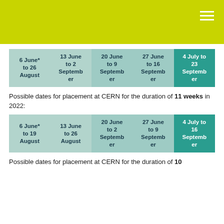| 6 June* to 26 August | 13 June to 2 September | 20 June to 9 September | 27 June to 16 September | 4 July to 23 September |
| --- | --- | --- | --- | --- |
|  |
Possible dates for placement at CERN for the duration of 11 weeks in 2022:
| 6 June* to 19 August | 13 June to 26 August | 20 June to 2 September | 27 June to 9 September | 4 July to 16 September |
| --- | --- | --- | --- | --- |
|  |
Possible dates for placement at CERN for the duration of 10